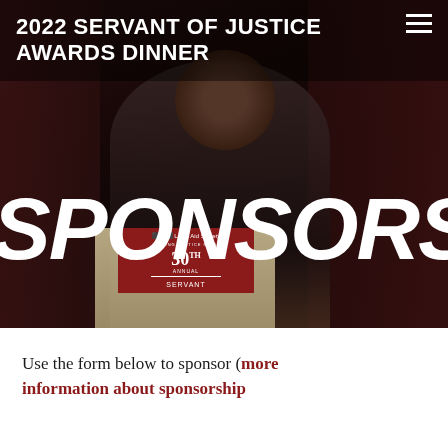2022 SERVANT OF JUSTICE AWARDS DINNER
[Figure (photo): A man in a suit and striped tie speaking at a podium bearing the Legal Aid Society 30th Annual Servant of Justice branding, against a dark curtained background, with the word SPONSORS overlaid in large white italic text]
Use the form below to sponsor (more information about sponsorship